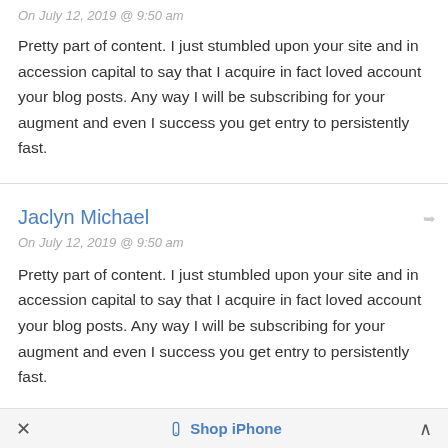On July 12, 2019 @ 9:50 am
Pretty part of content. I just stumbled upon your site and in accession capital to say that I acquire in fact loved account your blog posts. Any way I will be subscribing for your augment and even I success you get entry to persistently fast.
Jaclyn Michael
On July 12, 2019 @ 9:50 am
Pretty part of content. I just stumbled upon your site and in accession capital to say that I acquire in fact loved account your blog posts. Any way I will be subscribing for your augment and even I success you get entry to persistently fast.
× Shop iPhone ∧